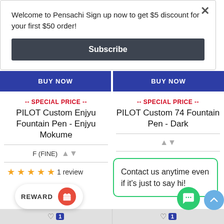Welcome to Pensachi Sign up now to get $5 discount for your first $50 order!
Subscribe
BUY NOW
BUY NOW
-- SPECIAL PRICE --
PILOT Custom Enjyu Fountain Pen - Enjyu Mokume
-- SPECIAL PRICE --
PILOT Custom 74 Fountain Pen - Dark
F (FINE)
1 review
Contact us anytime even if it's just to say hi!
REWARD